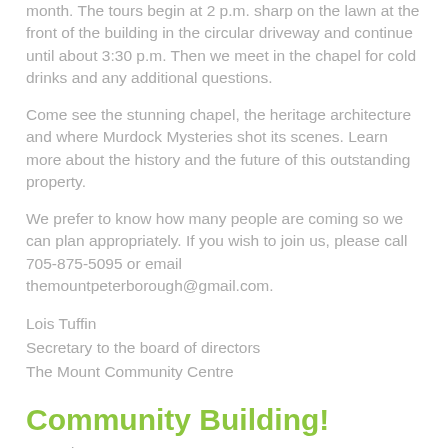month. The tours begin at 2 p.m. sharp on the lawn at the front of the building in the circular driveway and continue until about 3:30 p.m. Then we meet in the chapel for cold drinks and any additional questions.
Come see the stunning chapel, the heritage architecture and where Murdock Mysteries shot its scenes. Learn more about the history and the future of this outstanding property.
We prefer to know how many people are coming so we can plan appropriately. If you wish to join us, please call 705-875-5095 or email themountpeterborough@gmail.com.
Lois Tuffin
Secretary to the board of directors
The Mount Community Centre
Community Building!
Posted on May 24, 2016